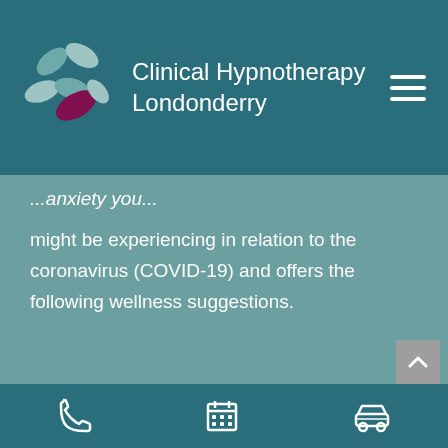[Figure (logo): Clinical Hypnotherapy Londonderry butterfly logo with teal and purple colors]
Clinical Hypnotherapy Londonderry
might be experiencing in relation to the coronavirus (COVID-19) and offers the following wellness suggestions.
Learn More
[Figure (photo): Partial view of a person, image cropped at bottom of page]
Phone | Calendar | Car icons navigation bar